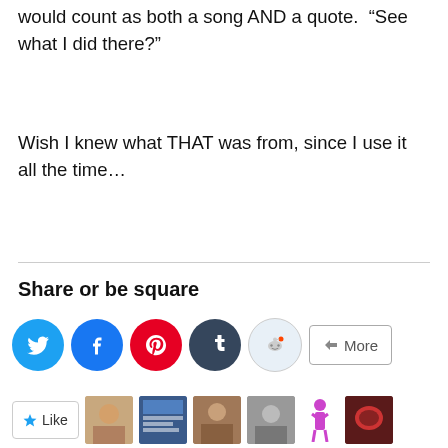would count as both a song AND a quote. “See what I did there?”
Wish I knew what THAT was from, since I use it all the time…
Share or be square
[Figure (other): Social share buttons: Twitter (blue circle), Facebook (blue circle), Pinterest (red circle), Tumblr (dark circle), Reddit (light circle), and a More button]
[Figure (other): Like button with star icon followed by rows of user avatar thumbnails]
Privacy & Cookies: This site uses cookies. By continuing to use this website, you agree to their use.
To find out more, including how to control cookies, see here: Cookie Policy
Close and accept